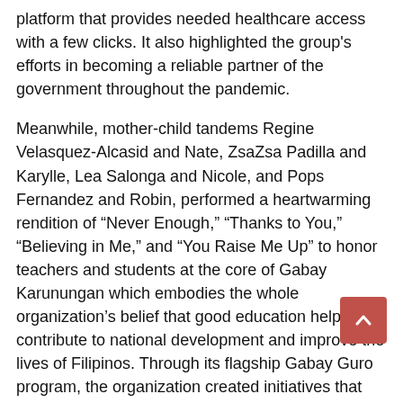platform that provides needed healthcare access with a few clicks. It also highlighted the group's efforts in becoming a reliable partner of the government throughout the pandemic.
Meanwhile, mother-child tandems Regine Velasquez-Alcasid and Nate, ZsaZsa Padilla and Karylle, Lea Salonga and Nicole, and Pops Fernandez and Robin, performed a heartwarming rendition of “Never Enough,” “Thanks to You,” “Believing in Me,” and “You Raise Me Up” to honor teachers and students at the core of Gabay Karunungan which embodies the whole organization’s belief that good education helps contribute to national development and improve the lives of Filipinos. Through its flagship Gabay Guro program, the organization created initiatives that helped lead the way to digitizing schools and universities and provided facilities and tools for both teachers and students.
Throughout the night, viewers were also treated to performances from OPM greats Nonoy Zuniga, Kuh Ledesma, Basil Valdes, Geneva Cruz, and Ryan Cayabyab